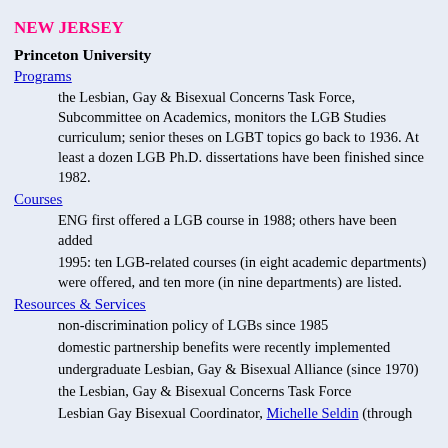NEW JERSEY
Princeton University
Programs
the Lesbian, Gay & Bisexual Concerns Task Force, Subcommittee on Academics, monitors the LGB Studies curriculum; senior theses on LGBT topics go back to 1936. At least a dozen LGB Ph.D. dissertations have been finished since 1982.
Courses
ENG first offered a LGB course in 1988; others have been added
1995: ten LGB-related courses (in eight academic departments) were offered, and ten more (in nine departments) are listed.
Resources & Services
non-discrimination policy of LGBs since 1985
domestic partnership benefits were recently implemented
undergraduate Lesbian, Gay & Bisexual Alliance (since 1970)
the Lesbian, Gay & Bisexual Concerns Task Force
Lesbian Gay Bisexual Coordinator, Michelle Seldin (through